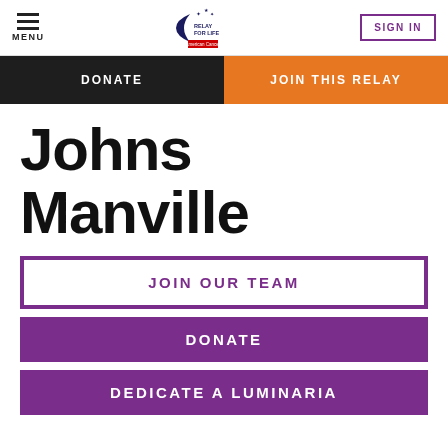MENU | RELAY FOR LIFE | SIGN IN
DONATE | JOIN THIS RELAY
Johns Manville
JOIN OUR TEAM
DONATE
DEDICATE A LUMINARIA